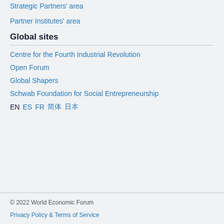Strategic Partners' area
Partner Institutes' area
Global sites
Centre for the Fourth Industrial Revolution
Open Forum
Global Shapers
Schwab Foundation for Social Entrepreneurship
EN ES FR 简体 日本語
© 2022 World Economic Forum
Privacy Policy & Terms of Service